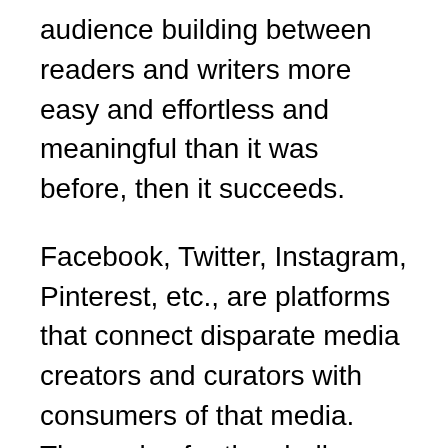audience building between readers and writers more easy and effortless and meaningful than it was before, then it succeeds.
Facebook, Twitter, Instagram, Pinterest, etc., are platforms that connect disparate media creators and curators with consumers of that media. They solve for the challenges mentioned above for fairly mass markets that are connecting around relatively low barrier media creation. We're now seeing, however, a more focused type of media platform emerge — or mature as is the case with YouTube — which is a media publishing platform. These platforms seek to solve media-creation challenges for a narrower group of media creators (somewhere between